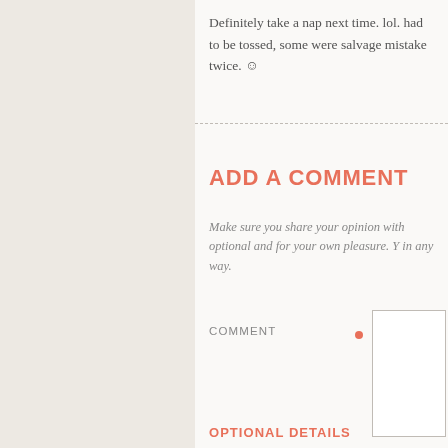Definitely take a nap next time. lol. had to be tossed, some were salvage mistake twice. ☺
ADD A COMMENT
Make sure you share your opinion with optional and for your own pleasure. Y in any way.
COMMENT
OPTIONAL DETAILS